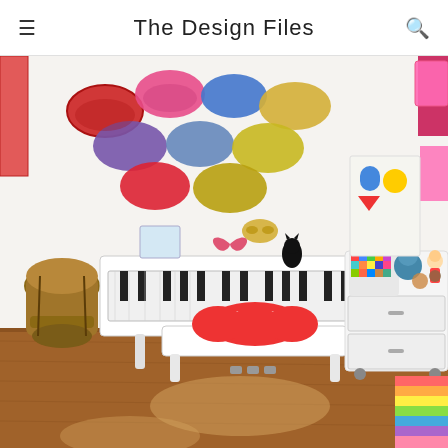The Design Files
[Figure (photo): A colorful children's room with a white digital piano and bench, a red polka-dot cushion on the bench, colorful glitter hats mounted on the white wall, a drum/djembe on the left, a white storage unit on wheels filled with stuffed animals and toys, a colorful striped bedspread visible on the right, and artwork on the walls. Hardwood floor with sunlight patches.]